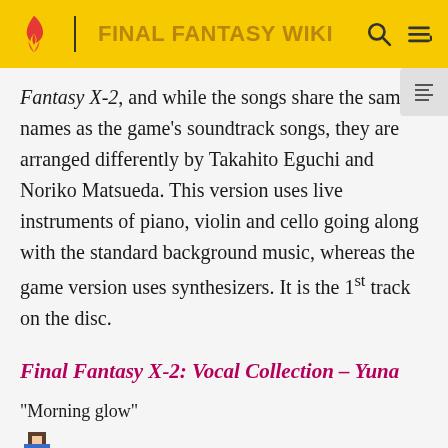FINAL FANTASY WIKI
Fantasy X-2, and while the songs share the same names as the game's soundtrack songs, they are arranged differently by Takahito Eguchi and Noriko Matsueda. This version uses live instruments of piano, violin and cello going along with the standard background music, whereas the game version uses synthesizers. It is the 1st track on the disc.
Final Fantasy X-2: Vocal Collection – Yuna
"Morning glow"
[Figure (screenshot): Pixel art sprite of a character (Yuna) from Final Fantasy]
[Figure (screenshot): Audio player widget showing 0:00 / 0:00 with play button, progress bar, volume and menu icons]
A vocalized arrangement, called "Morning glow", was